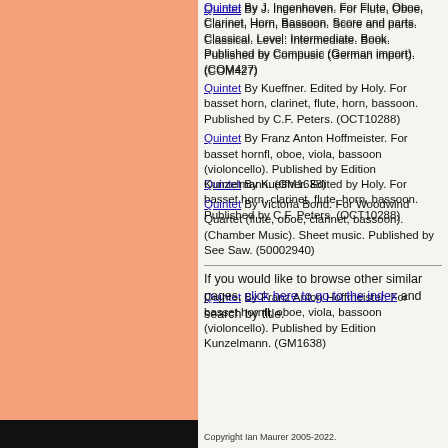Quintet By J. Ingenhoven. For Flute, Oboe, Clarinet, Horn, Bassoon. Score and parts. Classical. Level: Intermediate. Book. Published by Compusic (German import). (COM427)
Quintet By Kueffner. Edited by Holy. For basset horn, clarinet, flute, horn, bassoon. Published by C.F. Peters. (OCT10288)
Quintet By Franz Anton Hoffmeister. For basset hornfl, oboe, viola, bassoon (violoncello). Published by Edition Kunzelmann. (GM1638)
Quintet By Victoria Bond. For Woodwind Quartet (flute, oboe, clarinet, bassoon). (Chamber Music). Sheet music. Published by See Saw. (50002940)
If you would like to browse other similar pages, click here to go to the index and search by title.
Copyright Ian Maurer 2005-2022.